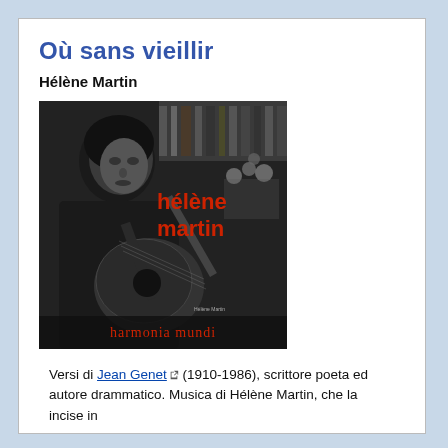Où sans vieillir
Hélène Martin
[Figure (photo): Album cover of Hélène Martin on harmonia mundi label. Black and white photo of a young person playing guitar, with red text reading 'hélène martin' and 'harmonia mundi' at the bottom.]
Versi di Jean Genet (1910-1986), scrittore poeta ed autore drammatico. Musica di Hélène Martin, che la incise in